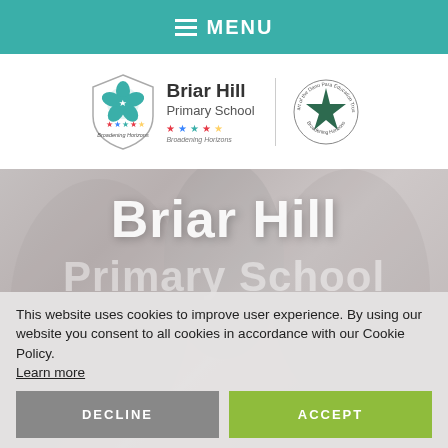MENU
[Figure (logo): Briar Hill Primary School shield logo with teal flower and stars, text 'Broadening Horizons', alongside a circular badge with green star]
Briar Hill Primary School
This website uses cookies to improve user experience. By using our website you consent to all cookies in accordance with our Cookie Policy. Learn more
DECLINE  ACCEPT